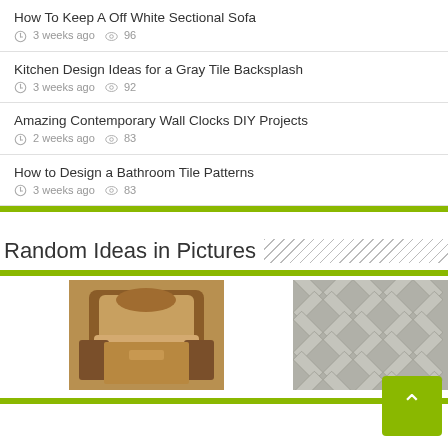How To Keep A Off White Sectional Sofa
3 weeks ago  96
Kitchen Design Ideas for a Gray Tile Backsplash
3 weeks ago  92
Amazing Contemporary Wall Clocks DIY Projects
2 weeks ago  83
How to Design a Bathroom Tile Patterns
3 weeks ago  83
Random Ideas in Pictures
[Figure (photo): Bedroom with ornate wooden bed and bedding]
[Figure (photo): Gray herringbone tile pattern]